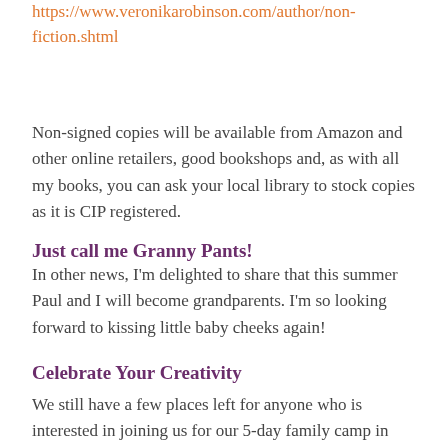https://www.veronikarobinson.com/author/non-fiction.shtml
Non-signed copies will be available from Amazon and other online retailers, good bookshops and, as with all my books, you can ask your local library to stock copies as it is CIP registered.
Just call me Granny Pants!
In other news, I'm delighted to share that this summer Paul and I will become grandparents. I'm so looking forward to kissing little baby cheeks again!
Celebrate Your Creativity
We still have a few places left for anyone who is interested in joining us for our 5-day family camp in August. It's being held at Limetree Nature Reserve in